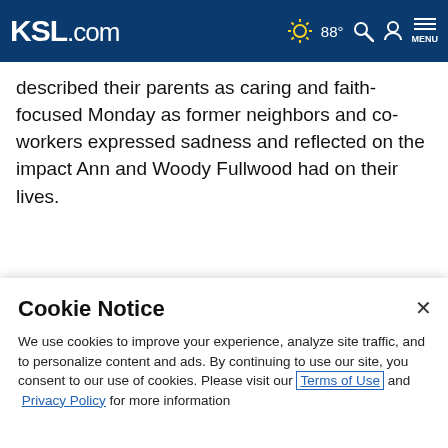KSL.com | 88° | Search | Account | Menu
described their parents as caring and faith-focused Monday as former neighbors and co-workers expressed sadness and reflected on the impact Ann and Woody Fullwood had on their lives.
ADVERTISEMENT
[Figure (photo): Advertisement image showing two people in what appears to be a library or office setting]
Cookie Notice
We use cookies to improve your experience, analyze site traffic, and to personalize content and ads. By continuing to use our site, you consent to our use of cookies. Please visit our Terms of Use and Privacy Policy for more information